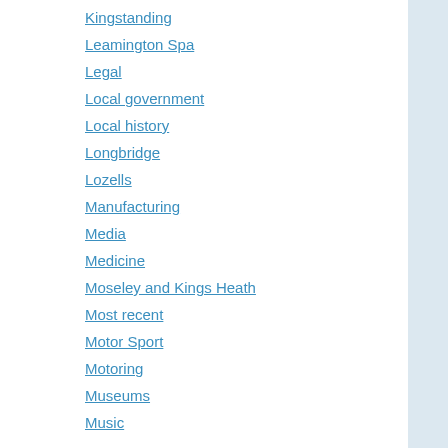Kingstanding
Leamington Spa
Legal
Local government
Local history
Longbridge
Lozells
Manufacturing
Media
Medicine
Moseley and Kings Heath
Most recent
Motor Sport
Motoring
Museums
Music